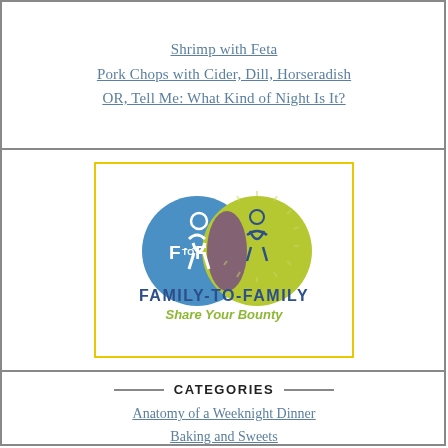Shrimp with Feta
Pork Chops with Cider, Dill, Horseradish
OR, Tell Me: What Kind of Night Is It?
[Figure (logo): Family-to-Family Share Your Bounty logo with overlapping blue and yellow-green circles and F-TO-F text]
CATEGORIES
Anatomy of a Weeknight Dinner
Baking and Sweets
Birthdays, Holidays, Celebrations